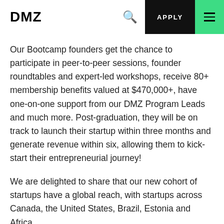DMZ | APPLY
Our Bootcamp founders get the chance to participate in peer-to-peer sessions, founder roundtables and expert-led workshops, receive 80+ membership benefits valued at $470,000+, have one-on-one support from our DMZ Program Leads and much more. Post-graduation, they will be on track to launch their startup within three months and generate revenue within six, allowing them to kick-start their entrepreneurial journey!
We are delighted to share that our new cohort of startups have a global reach, with startups across Canada, the United States, Brazil, Estonia and Africa.